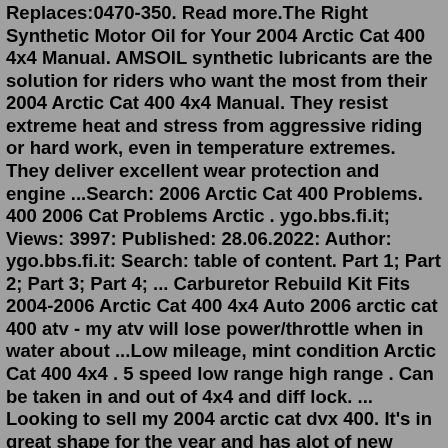Replaces:0470-350. Read more.The Right Synthetic Motor Oil for Your 2004 Arctic Cat 400 4x4 Manual. AMSOIL synthetic lubricants are the solution for riders who want the most from their 2004 Arctic Cat 400 4x4 Manual. They resist extreme heat and stress from aggressive riding or hard work, even in temperature extremes. They deliver excellent wear protection and engine ...Search: 2006 Arctic Cat 400 Problems. 400 2006 Cat Problems Arctic . ygo.bbs.fi.it; Views: 3997: Published: 28.06.2022: Author: ygo.bbs.fi.it: Search: table of content. Part 1; Part 2; Part 3; Part 4; ... Carburetor Rebuild Kit Fits 2004-2006 Arctic Cat 400 4x4 Auto 2006 arctic cat 400 atv - my atv will lose power/throttle when in water about ...Low mileage, mint condition Arctic Cat 400 4x4 . 5 speed low range high range . Can be taken in and out of 4x4 and diff lock. ... Looking to sell my 2004 arctic cat dvx 400. It's in great shape for the year and has alot of new parts. ... Artic Cat dvx 400 Had this quad for 2 years now haven't had any major problems. Replaced rear brake pads and ...we've got